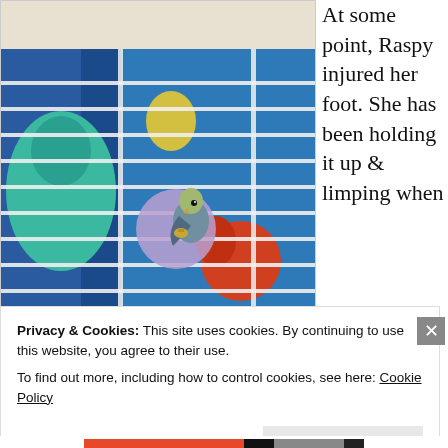[Figure (photo): A bird (appears to be a budgie or similar parrot) clinging to horizontal bars of a white wire cage. Behind the cage are colorful illustrated backgrounds showing other birds. The bird is holding onto a round purple/lavender perch toy with a small metal attachment.]
At some point, Raspy injured her foot. She has been holding it up & limping when
Privacy & Cookies: This site uses cookies. By continuing to use this website, you agree to their use.
To find out more, including how to control cookies, see here: Cookie Policy